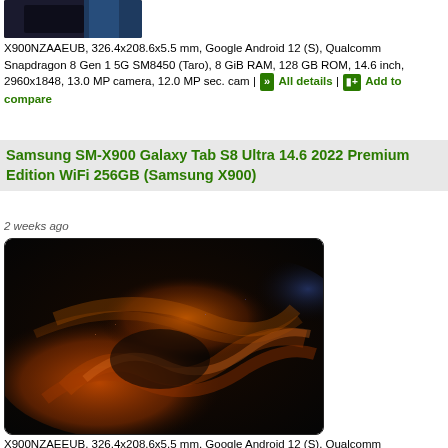[Figure (photo): Partial top view of a Samsung tablet device against dark background]
X900NZAAEUB, 326.4x208.6x5.5 mm, Google Android 12 (S), Qualcomm Snapdragon 8 Gen 1 5G SM8450 (Taro), 8 GiB RAM, 128 GB ROM, 14.6 inch, 2960x1848, 13.0 MP camera, 12.0 MP sec. cam | ›› All details | Add to compare
Samsung SM-X900 Galaxy Tab S8 Ultra 14.6 2022 Premium Edition WiFi 256GB (Samsung X900)
2 weeks ago
[Figure (photo): Samsung Galaxy Tab S8 Ultra showing abstract orange and black sand dune wallpaper on its display]
X900NZAEEUB, 326.4x208.6x5.5 mm, Google Android 12 (S), Qualcomm Snapdragon 8 Gen 1 5G SM8450 (Taro), 12 GiB RAM, 256 GB ROM, 14.6 inch, 2960x1848, 13.0 MP camera, 12.0 MP sec. cam | ›› All details | Add to compare